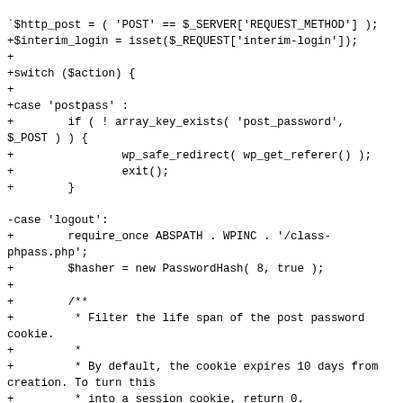'$http_post = ( 'POST' == $_SERVER['REQUEST_METHOD'] );
+$interim_login = isset($_REQUEST['interim-login']);
+
+switch ($action) {
+
+case 'postpass' :
+        if ( ! array_key_exists( 'post_password',
$_POST ) ) {
+                wp_safe_redirect( wp_get_referer() );
+                exit();
+        }

-case 'logout':
+        require_once ABSPATH . WPINC . '/class-phpass.php';
+        $hasher = new PasswordHash( 8, true );
+
+        /**
+         * Filter the life span of the post password cookie.
+         *
+         * By default, the cookie expires 10 days from creation. To turn this
+         * into a session cookie, return 0.
+         *
+         * @since 3.7.0
+         *
+         * @param int $expires The expiry time, as passed to setcookie().
+         */